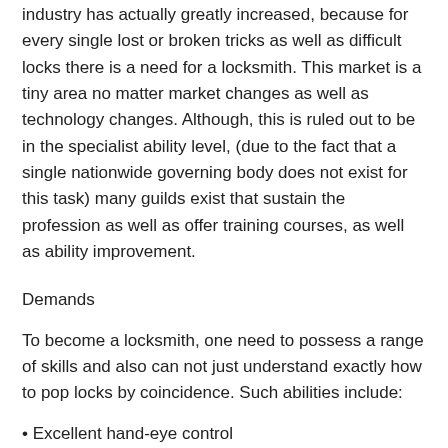industry has actually greatly increased, because for every single lost or broken tricks as well as difficult locks there is a need for a locksmith. This market is a tiny area no matter market changes as well as technology changes. Although, this is ruled out to be in the specialist ability level, (due to the fact that a single nationwide governing body does not exist for this task) many guilds exist that sustain the profession as well as offer training courses, as well as ability improvement.
Demands
To become a locksmith, one need to possess a range of skills and also can not just understand exactly how to pop locks by coincidence. Such abilities include:
Excellent hand-eye control
Manual mastery and functional reasoning
Capable of utilizing a selection of professional devices